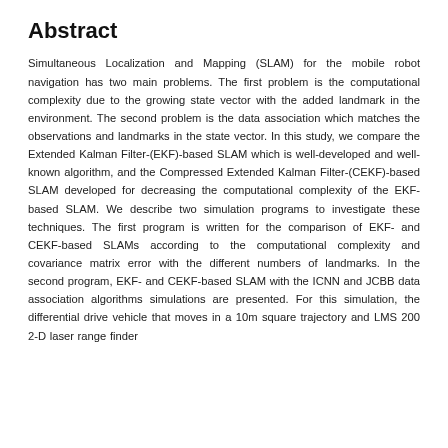Abstract
Simultaneous Localization and Mapping (SLAM) for the mobile robot navigation has two main problems. The first problem is the computational complexity due to the growing state vector with the added landmark in the environment. The second problem is the data association which matches the observations and landmarks in the state vector. In this study, we compare the Extended Kalman Filter-(EKF)-based SLAM which is well-developed and well-known algorithm, and the Compressed Extended Kalman Filter-(CEKF)-based SLAM developed for decreasing the computational complexity of the EKF-based SLAM. We describe two simulation programs to investigate these techniques. The first program is written for the comparison of EKF- and CEKF-based SLAMs according to the computational complexity and covariance matrix error with the different numbers of landmarks. In the second program, EKF- and CEKF-based SLAM with the ICNN and JCBB data association algorithms simulations are presented. For this simulation, the differential drive vehicle that moves in a 10m square trajectory and LMS 200 2-D laser range finder